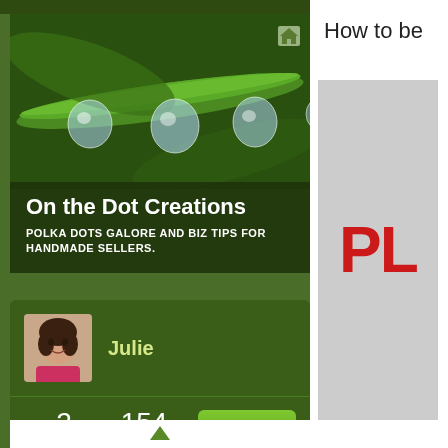[Figure (photo): Close-up macro photo of green grass stem with multiple water droplets hanging from it, dark green background foliage]
On the Dot Creations
POLKA DOTS GALORE AND BIZ TIPS FOR HANDMADE SELLERS.
[Figure (photo): Profile photo of Julie, a woman with short dark hair, smiling, wearing pink]
Julie
2 FOLLOWING
154 FOLLOWERS
Follow
How to be
[Figure (other): Gray advertisement box with large red bold text reading PL (partially visible)]